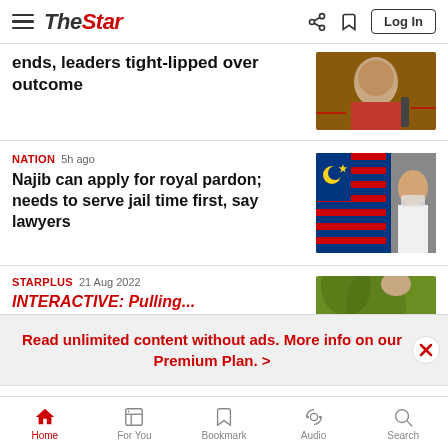The Star - Log In
ends, leaders tight-lipped over outcome
NATION 5h ago
Najib can apply for royal pardon; needs to serve jail time first, say lawyers
STARPLUS 21 Aug 2022
Read unlimited content without ads. More info on our Premium Plan. >
Home | For You | Bookmark | Audio | Search